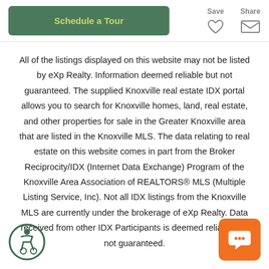[Figure (other): Schedule a Tour button (green rounded rectangle with gold text), Save button with heart icon, Share button with envelope icon]
All of the listings displayed on this website may not be listed by eXp Realty. Information deemed reliable but not guaranteed. The supplied Knoxville real estate IDX portal allows you to search for Knoxville homes, land, real estate, and other properties for sale in the Greater Knoxville area that are listed in the Knoxville MLS. The data relating to real estate on this website comes in part from the Broker Reciprocity/IDX (Internet Data Exchange) Program of the Knoxville Area Association of REALTORS® MLS (Multiple Listing Service, Inc). Not all IDX listings from the Knoxville MLS are currently under the brokerage of eXp Realty. Data received from other IDX Participants is deemed reliable but not guaranteed.
[Figure (other): Accessibility icon (wheelchair user in circle, green border) and orange chat bubble button]